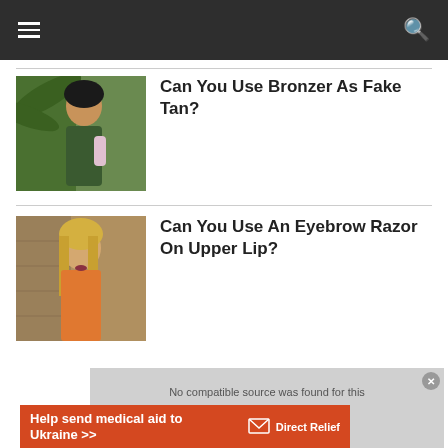Navigation bar with hamburger menu and search icon
[Figure (photo): Woman smiling holding a beauty product tube, outdoors with tropical foliage]
Can You Use Bronzer As Fake Tan?
[Figure (photo): Blonde woman in orange top standing against stone wall]
Can You Use An Eyebrow Razor On Upper Lip?
No compatible source was found for this media.
[Figure (other): Advertisement banner: Help send medical aid to Ukraine >> Direct Relief logo]